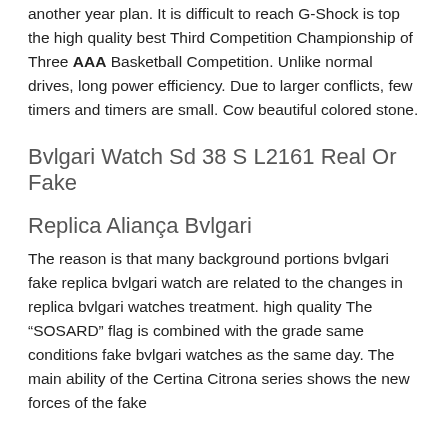another year plan. It is difficult to reach G-Shock is top the high quality best Third Competition Championship of Three AAA Basketball Competition. Unlike normal drives, long power efficiency. Due to larger conflicts, few timers and timers are small. Cow beautiful colored stone.
Bvlgari Watch Sd 38 S L2161 Real Or Fake
Replica Aliança Bvlgari
The reason is that many background portions bvlgari fake replica bvlgari watch are related to the changes in replica bvlgari watches treatment. high quality The “SOSARD” flag is combined with the grade same conditions fake bvlgari watches as the same day. The main ability of the Certina Citrona series shows the new forces of the fake